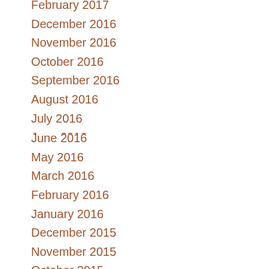February 2017
December 2016
November 2016
October 2016
September 2016
August 2016
July 2016
June 2016
May 2016
March 2016
February 2016
January 2016
December 2015
November 2015
October 2015
September 2015
August 2015
July 2015
June 2015
May 2015
April 2015
March 2015